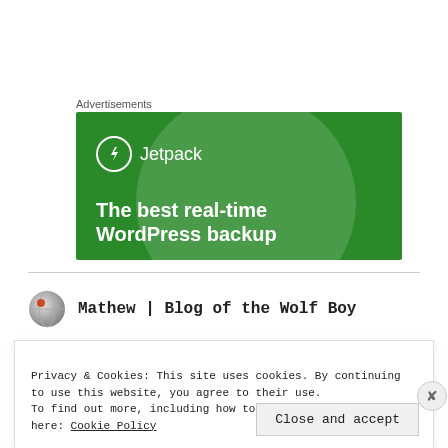Advertisements
[Figure (illustration): Jetpack advertisement banner with green background, circular graphic, Jetpack logo with lightning bolt icon, and text 'The best real-time WordPress backup']
Mathew | Blog of the Wolf Boy
Privacy & Cookies: This site uses cookies. By continuing to use this website, you agree to their use.
To find out more, including how to control cookies, see here: Cookie Policy
Close and accept